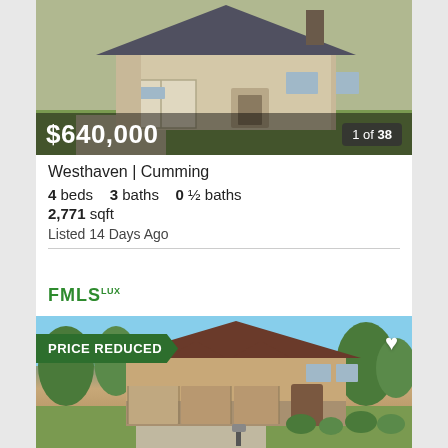[Figure (photo): Exterior photo of a stone and brick single-family home with two-car garage, showing price overlay of $640,000 and image counter '1 of 38']
Westhaven | Cumming
4 beds   3 baths   0 ½ baths
2,771 sqft
Listed 14 Days Ago
[Figure (logo): FMLS LUX logo in green]
[Figure (photo): Exterior photo of a large brick and stone two-story home with three-car garage, showing 'PRICE REDUCED' badge and heart icon]